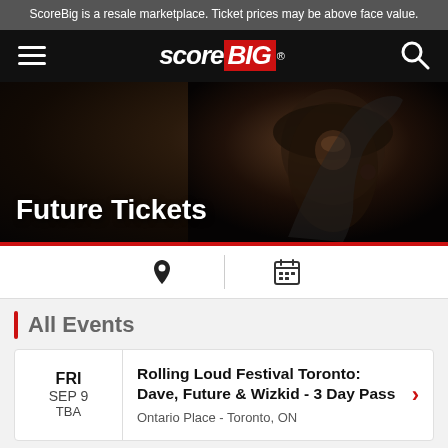ScoreBig is a resale marketplace. Ticket prices may be above face value.
[Figure (screenshot): ScoreBig navigation bar with hamburger menu on left, ScoreBig logo in center (score in white italic, BIG in red background), and search icon on right, all on black background]
[Figure (photo): Hero banner showing Future (rapper) wearing a hat and jacket, pointing gesture, dark moody background, with text overlay 'Future Tickets']
Future Tickets
[Figure (other): Filter bar with location pin icon on left and calendar icon on right, separated by vertical line]
All Events
FRI SEP 9 TBA
Rolling Loud Festival Toronto: Dave, Future & Wizkid - 3 Day Pass
Ontario Place - Toronto, ON